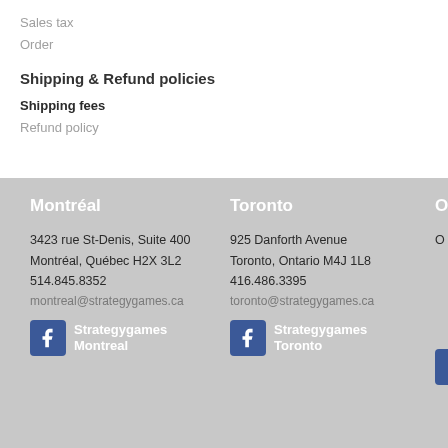Sales tax
Order
Shipping & Refund policies
Shipping fees
Refund policy
Montréal
3423 rue St-Denis, Suite 400
Montréal, Québec H2X 3L2
514.845.8352
montreal@strategygames.ca
Strategygames Montreal
Toronto
925 Danforth Avenue
Toronto, Ontario M4J 1L8
416.486.3395
toronto@strategygames.ca
Strategygames Toronto